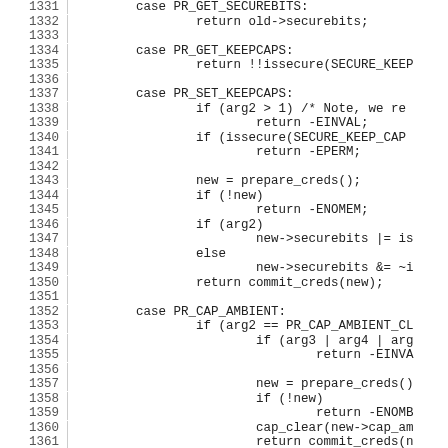Source code listing lines 1331-1361, C kernel code for prctl system call handling including PR_GET_SECUREBITS, PR_GET_KEEPCAPS, PR_SET_KEEPCAPS, and PR_CAP_AMBIENT cases